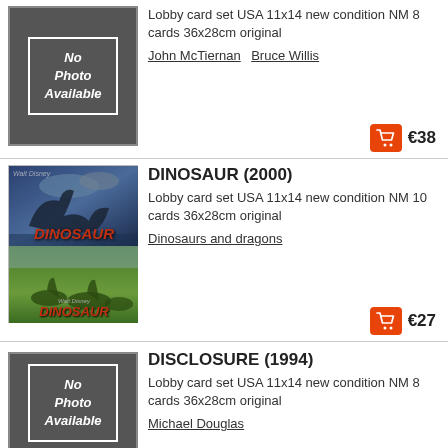[Figure (photo): No Photo Available placeholder thumbnail, dark gray background with white italic bold text]
Lobby card set USA 11x14 new condition NM 8 cards 36x28cm original
John McTiernan  Bruce Willis
€38
[Figure (photo): Dinosaur (2000) movie lobby card collage showing two images: top with dramatic dinosaur against stormy sky, bottom with herd of dinosaurs in green landscape, with DINOSAUR logo text]
DINOSAUR (2000)
Lobby card set USA 11x14 new condition NM 10 cards 36x28cm original
Dinosaurs and dragons
€27
[Figure (photo): No Photo Available placeholder thumbnail, dark gray background with white italic bold text]
DISCLOSURE (1994)
Lobby card set USA 11x14 new condition NM 8 cards 36x28cm original
Michael Douglas